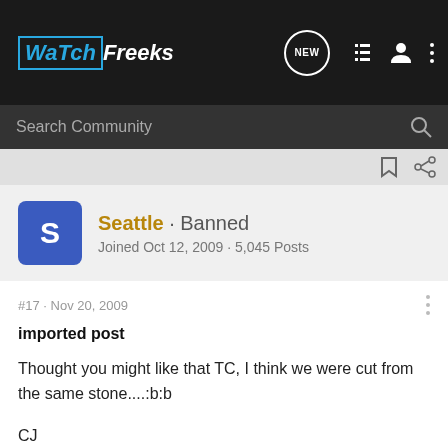WatchFreeks
Search Community
Seattle · Banned
Joined Oct 12, 2009 · 5,045 Posts
#17 · Nov 20, 2009
imported post
Thought you might like that TC, I think we were cut from the same stone....:b:b
CJ